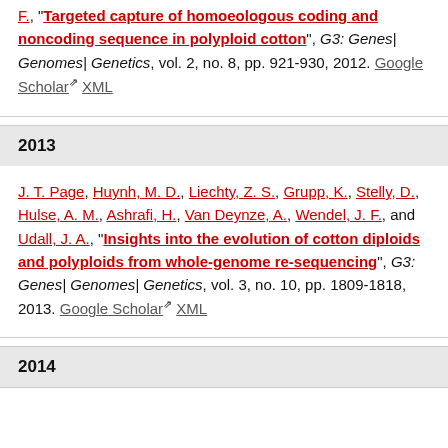F., "Targeted capture of homoeologous coding and noncoding sequence in polyploid cotton", G3: Genes| Genomes| Genetics, vol. 2, no. 8, pp. 921-930, 2012. Google Scholar XML
2013
J. T. Page, Huynh, M. D., Liechty, Z. S., Grupp, K., Stelly, D., Hulse, A. M., Ashrafi, H., Van Deynze, A., Wendel, J. F., and Udall, J. A., "Insights into the evolution of cotton diploids and polyploids from whole-genome re-sequencing", G3: Genes| Genomes| Genetics, vol. 3, no. 10, pp. 1809-1818, 2013. Google Scholar XML
2014